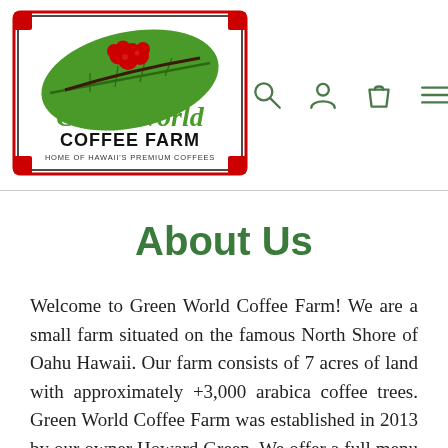[Figure (logo): Green World Coffee Farm logo — rectangular border with red corners, green leaf with red coffee berries on a branch, green italic text 'Green World' and black bold text 'COFFEE FARM', subtitle 'HOME OF HAWAII'S PREMIUM COFFEES']
About Us
Welcome to Green World Coffee Farm! We are a small farm situated on the famous North Shore of Oahu Hawaii. Our farm consists of 7 acres of land with approximately +3,000 arabica coffee trees. Green World Coffee Farm was established in 2013 by our owner Howard Green. We offer a full menu of items that you can purchase off the property and while